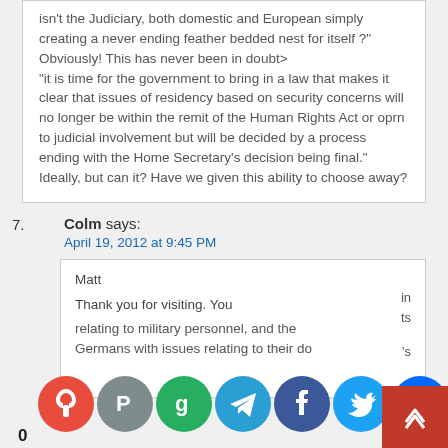isn't the Judiciary, both domestic and European simply creating a never ending feather bedded nest for itself ?" Obviously! This has never been in doubt> "it is time for the government to bring in a law that makes it clear that issues of residency based on security concerns will no longer be within the remit of the Human Rights Act or oprn to judicial involvement but will be decided by a process ending with the Home Secretary's decision being final." Ideally, but can it? Have we given this ability to choose away?
7. Colm says: April 19, 2012 at 9:45 PM
Matt
in ts
Thank you for visiting. You
's
relating to military personnel, and the Germans with issues relating to their do